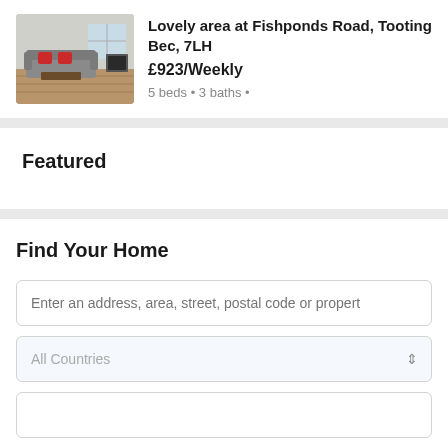[Figure (photo): Interior photo of a living room with grey sofa, red cushions, wooden floor and a window in the background]
Lovely area at Fishponds Road, Tooting Bec, 7LH
£923/Weekly
5 beds • 3 baths •
Featured
Find Your Home
Enter an address, area, street, postal code or propert
All Countries